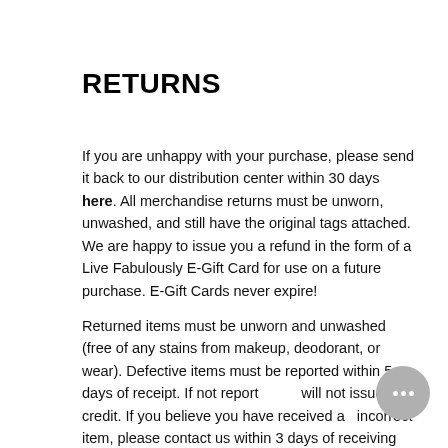RETURNS
If you are unhappy with your purchase, please send it back to our distribution center within 30 days here. All merchandise returns must be unworn, unwashed, and still have the original tags attached. We are happy to issue you a refund in the form of a Live Fabulously E-Gift Card for use on a future purchase. E-Gift Cards never expire!
Returned items must be unworn and unwashed (free of any stains from makeup, deodorant, or wear). Defective items must be reported within 5 days of receipt. If not reported we will not issue credit. If you believe you have received an incorrect item, please contact us within 3 days of receiving your package.